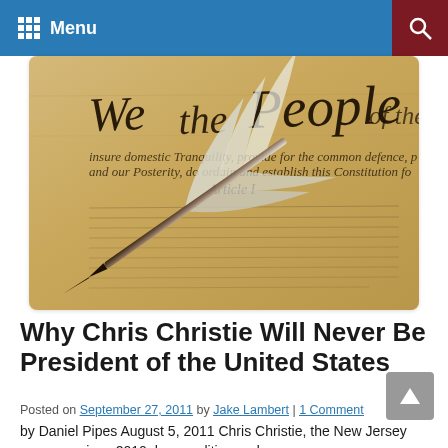Menu
[Figure (photo): Photo of the US Constitution parchment showing 'We the People' in calligraphy, with a quill pen resting on it]
Why Chris Christie Will Never Be President of the United States
Posted on September 27, 2011 by Jake Lambert | 1 Comment
by Daniel Pipes August 5, 2011 Chris Christie, the New Jersey governor since 2010, has qualities and